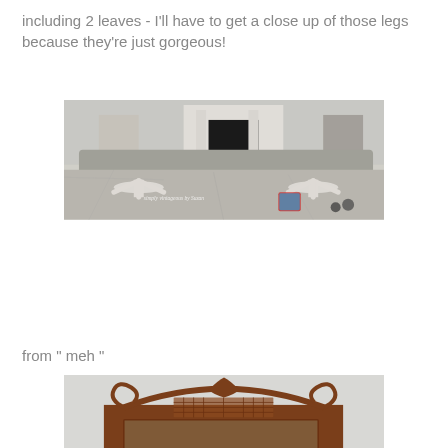including 2 leaves - I'll have to get a close up of those legs because they're just gorgeous!
[Figure (photo): A gray painted dining table with white pedestal legs on a drop cloth, with chairs and a fireplace visible in the background. Watermark reads 'simply vintageous by Suzan'.]
from " meh "
[Figure (photo): Top portion of a dark wood china cabinet with ornate carved bonnet top featuring scrolls and lattice detail.]